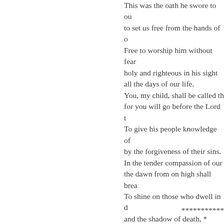This was the oath he swore to ou to set us free from the hands of o Free to worship him without fear holy and righteous in his sight all the days of our life. You, my child, shall be called th for you will go before the Lord t To give his people knowledge of by the forgiveness of their sins. In the tender compassion of our the dawn from on high shall brea To shine on those who dwell in d and the shadow of death, * and to guide our feet into the wa Glory to the Father, and to the S as it was in the beginning, is now
***********